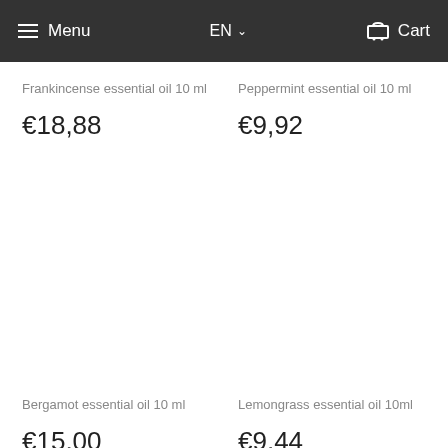Menu  EN  Cart
Frankincense essential oil 10 ml
€18,88
Peppermint essential oil 10 ml
€9,92
Bergamot essential oil 10 ml
€15,00
Lemongrass essential oil 10ml
€9,44